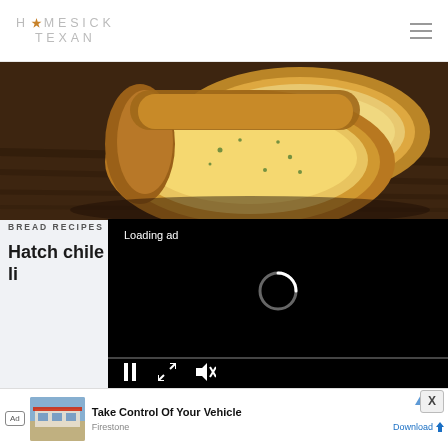HOMESICK TEXAN
[Figure (photo): Sliced bread loaf on a wooden cutting board, warm tones]
[Figure (screenshot): Video player overlay showing 'Loading ad' text with spinner and playback controls (pause, expand, mute)]
BREAD RECIPES
Hatch chile li
[Figure (photo): Two food photos side by side: guacamole in bowl and a casserole dish with white creamy topping]
[Figure (other): Advertisement banner: 'Take Control Of Your Vehicle' by Firestone with Download button. Ad image shows an auto service center.]